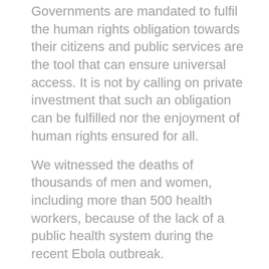Governments are mandated to fulfil the human rights obligation towards their citizens and public services are the tool that can ensure universal access. It is not by calling on private investment that such an obligation can be fulfilled nor the enjoyment of human rights ensured for all.
We witnessed the deaths of thousands of men and women, including more than 500 health workers, because of the lack of a public health system during the recent Ebola outbreak.
After every natural disaster, we mourn the victims and celebrate the braveness of first responders, but we hardly see investment in preparedness and protection of people and communities.
Health, education, safe water and sanitation are essential to address the causes of poverty and cannot be dealt with as